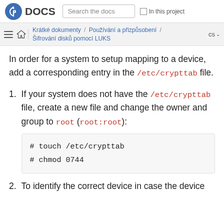Fedora DOCS  Search the docs  In this project
Krátké dokumenty / Používání a přizpůsobení / Šifrování disků pomocí LUKS  cs
In order for a system to setup mapping to a device, add a corresponding entry in the /etc/crypttab file.
1. If your system does not have the /etc/crypttab file, create a new file and change the owner and group to root (root:root):
# touch /etc/crypttab
# chmod 0744
2. To identify the correct device in case the device